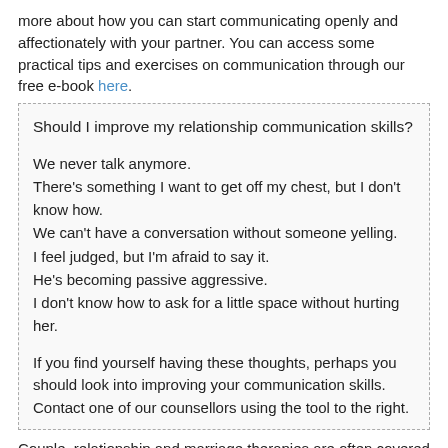more about how you can start communicating openly and affectionately with your partner. You can access some practical tips and exercises on communication through our free e-book here.
Should I improve my relationship communication skills?

We never talk anymore.
There’s something I want to get off my chest, but I don’t know how.
We can’t have a conversation without someone yelling.
I feel judged, but I’m afraid to say it.
He’s becoming passive aggressive.
I don’t know how to ask for a little space without hurting her.

If you find yourself having these thoughts, perhaps you should look into improving your communication skills. Contact one of our counsellors using the tool to the right.
Couple, relationship and marriage therapies are often covered by your health insurance plan.